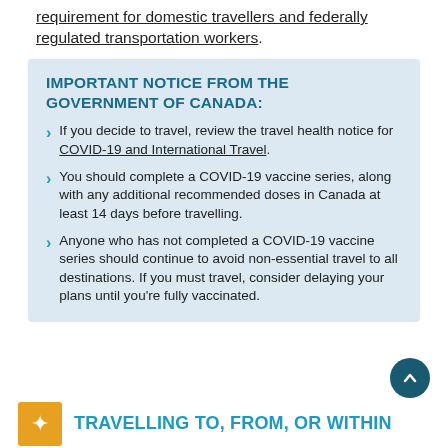requirement for domestic travellers and federally regulated transportation workers.
IMPORTANT NOTICE FROM THE GOVERNMENT OF CANADA:
If you decide to travel, review the travel health notice for COVID-19 and International Travel.
You should complete a COVID-19 vaccine series, along with any additional recommended doses in Canada at least 14 days before travelling.
Anyone who has not completed a COVID-19 vaccine series should continue to avoid non-essential travel to all destinations. If you must travel, consider delaying your plans until you're fully vaccinated.
TRAVELLING TO, FROM, OR WITHIN